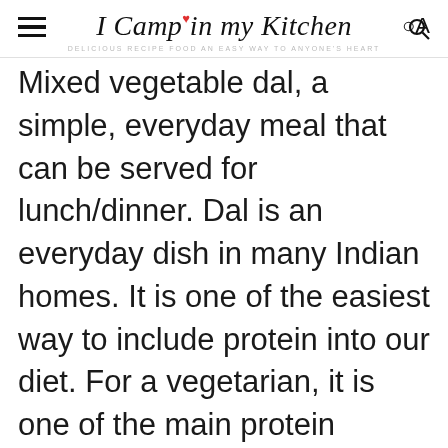I Camp in my Kitchen — DELICIOUS RECIPE FOOD AN EASY WAY TO ANYONE'S HEART
Mixed vegetable dal, a simple, everyday meal that can be served for lunch/dinner. Dal is an everyday dish in many Indian homes. It is one of the easiest way to include protein into our diet. For a vegetarian, it is one of the main protein source.